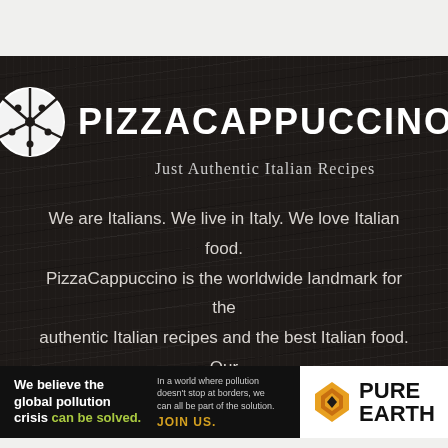[Figure (logo): PizzaCappuccino logo on dark wood-grain background: pizza slice icon on left, PIZZACAPPUCCINO in white bold text, 'Just Authentic Italian Recipes' tagline in cursive below]
We are Italians. We live in Italy. We love Italian food. PizzaCappuccino is the worldwide landmark for the authentic Italian recipes and the best Italian food. Our daily mission is to collect only the best authentic
[Figure (infographic): Pure Earth advertisement banner: left side black background with text 'We believe the global pollution crisis can be solved.' and 'In a world where pollution doesn't stop at borders, we can all be part of the solution. JOIN US.' Right side white background with Pure Earth diamond logo and PURE EARTH text.]